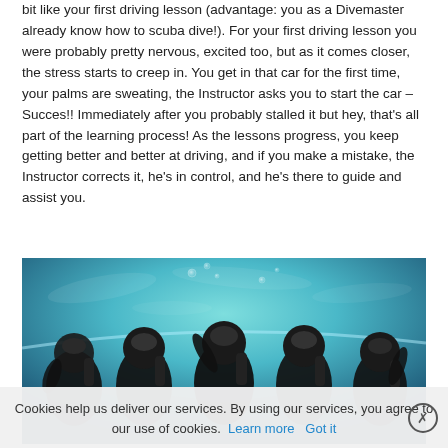bit like your first driving lesson (advantage: you as a Divemaster already know how to scuba dive!). For your first driving lesson you were probably pretty nervous, excited too, but as it comes closer, the stress starts to creep in. You get in that car for the first time, your palms are sweating, the Instructor asks you to start the car – Succes!! Immediately after you probably stalled it but hey, that's all part of the learning process! As the lessons progress, you keep getting better and better at driving, and if you make a mistake, the Instructor corrects it, he's in control, and he's there to guide and assist you.
[Figure (photo): Underwater photo of five scuba divers in wetsuits and full diving gear, posing together in a pool or aquarium with turquoise blue water, some giving thumbs up or waving.]
Cookies help us deliver our services. By using our services, you agree to our use of cookies. Learn more  Got it